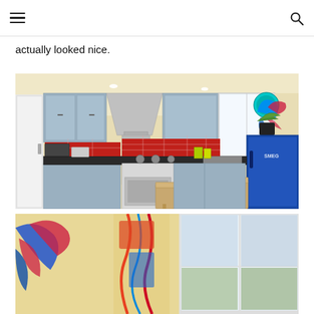[hamburger menu] [search icon]
actually looked nice.
[Figure (photo): Bright kitchen interior with light blue cabinets, red subway tile backsplash, stainless steel range hood, black countertops, a bright blue SMEG refrigerator, and colorful bird wall art on yellow walls.]
[Figure (photo): Partial view of a room with yellow walls, colorful bird wall art, and a white-framed window.]